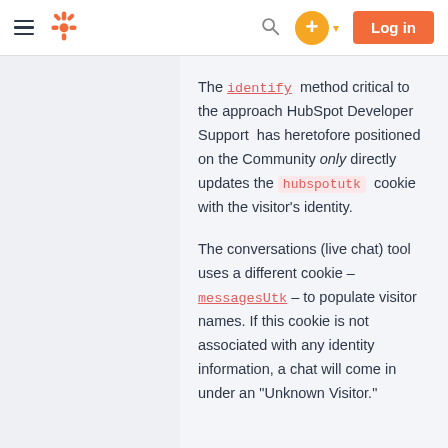HubSpot navigation bar with hamburger menu, logo, search, plus button, and Log in button
The identify method critical to the approach HubSpot Developer Support has heretofore positioned on the Community only directly updates the hubspotutk cookie with the visitor's identity.
The conversations (live chat) tool uses a different cookie – messagesUtk – to populate visitor names. If this cookie is not associated with any identity information, a chat will come in under an "Unknown Visitor."